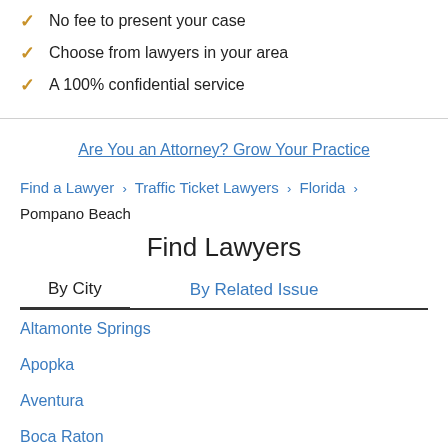No fee to present your case
Choose from lawyers in your area
A 100% confidential service
Are You an Attorney? Grow Your Practice
Find a Lawyer > Traffic Ticket Lawyers > Florida > Pompano Beach
Find Lawyers
By City
By Related Issue
Altamonte Springs
Apopka
Aventura
Boca Raton